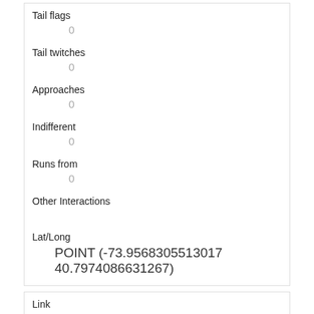| Tail flags | 0 |
| Tail twitches | 0 |
| Approaches | 0 |
| Indifferent | 0 |
| Runs from | 0 |
| Other Interactions |  |
| Lat/Long | POINT (-73.9568305513017 40.7974086631267) |
| Link | 503 |
| rowid | 503 |
| longitude | -73.9598340783572 |